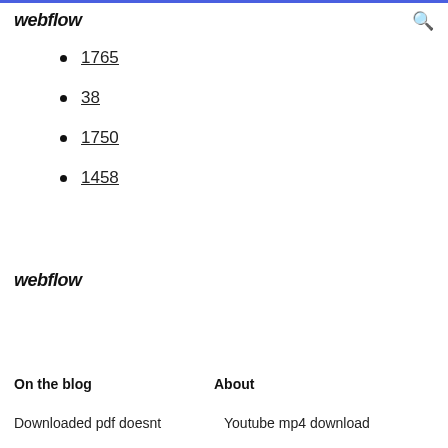webflow
1765
38
1750
1458
webflow
On the blog
About
Downloaded pdf doesnt Youtube mp4 download